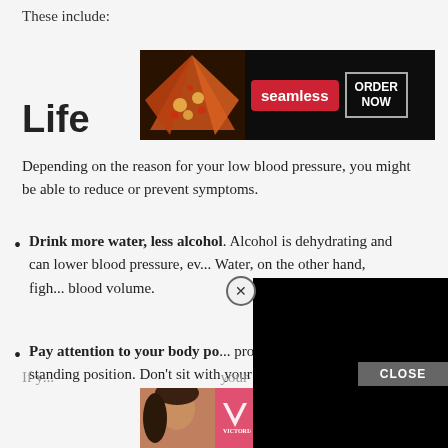These include:
[Figure (other): Seamless food delivery advertisement banner with pizza image, red seamless button, and ORDER NOW button]
Life
Depending on the reason for your low blood pressure, you might be able to reduce or prevent symptoms.
Drink more water, less alcohol. Alcohol is dehydrating and can lower blood pressure, ev... Water, on the other hand, figh... blood volume.
Pay attention to your body po... prone or squatting to a standing position. Don't sit with your legs crossed.
[Figure (other): Black video overlay ad covering right portion of page with close X button and CLOSE button]
If y...your
[Figure (other): Victoria's Secret advertisement banner with model, VS logo, SHOP THE COLLECTION text, and SHOP NOW button]